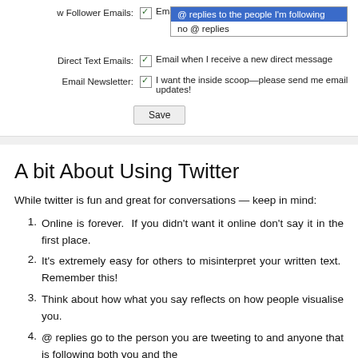[Figure (screenshot): Email settings form with checkboxes for Follower Emails, Direct Text Emails, Email Newsletter, and a Save button. A dropdown is open showing '@ replies to the people I'm following' selected and 'no @ replies' option.]
A bit About Using Twitter
While twitter is fun and great for conversations — keep in mind:
Online is forever.  If you didn't want it online don't say it in the first place.
It's extremely easy for others to misinterpret your written text.  Remember this!
Think about how what you say reflects on how people visualise you.
@ replies go to the person you are tweeting to and anyone that is following both you and the